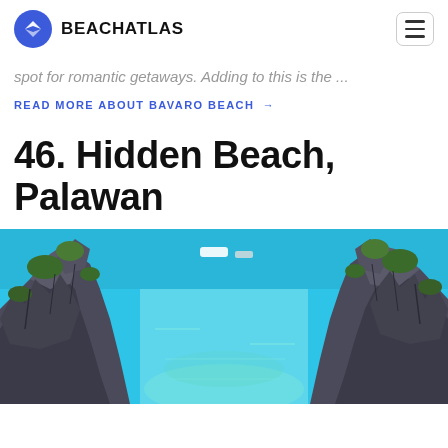BEACHATLAS
spot for romantic getaways. Adding to this is the ...
READ MORE ABOUT BAVARO BEACH →
46. Hidden Beach, Palawan
[Figure (photo): Aerial view of Hidden Beach in Palawan, showing jagged dark limestone rock formations flanking a narrow turquoise waterway leading to open blue sea, with boats visible in the distance and lush green vegetation on the rocks.]